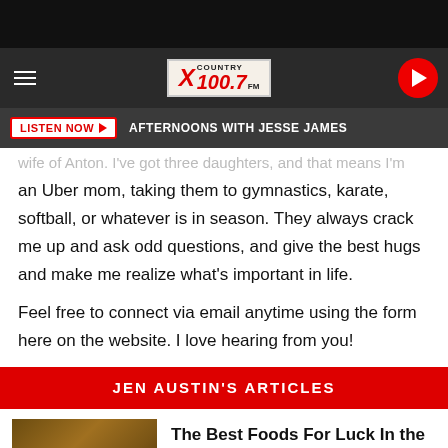[Figure (screenshot): Black top bar]
[Figure (logo): X Country 100.7 FM radio station header with hamburger menu and play button]
LISTEN NOW ▶  AFTERNOONS WITH JESSE JAMES
an Uber mom, taking them to gymnastics, karate, softball, or whatever is in season. They always crack me up and ask odd questions, and give the best hugs and make me realize what's important in life.
Feel free to connect via email anytime using the form here on the website. I love hearing from you!
JEN AUSTIN'S ARTICLES
The Best Foods For Luck In the New Year